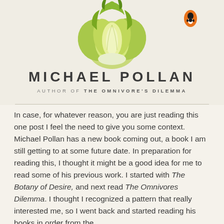[Figure (illustration): Book cover of Michael Pollan book showing a head of romaine lettuce at the top, partially cropped, on a cream background. A Penguin Books logo (orange oval with penguin) appears in the upper right.]
MICHAEL POLLAN
AUTHOR OF THE OMNIVORE'S DILEMMA
In case, for whatever reason, you are just reading this one post I feel the need to give you some context. Michael Pollan has a new book coming out, a book I am still getting to at some future date. In preparation for reading this, I thought it might be a good idea for me to read some of his previous work. I started with The Botany of Desire, and next read The Omnivores Dilemma. I thought I recognized a pattern that really interested me, so I went back and started reading his books in order from the